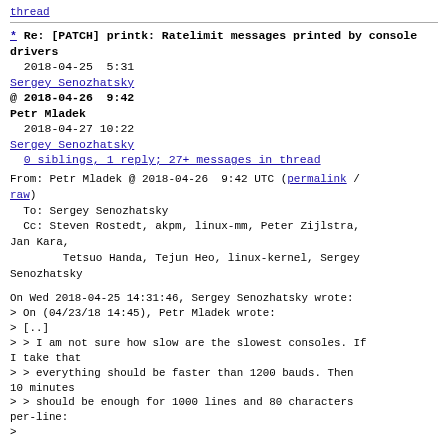thread
* Re: [PATCH] printk: Ratelimit messages printed by console drivers
  2018-04-25  5:31
Sergey Senozhatsky
@ 2018-04-26  9:42
Petr Mladek
  2018-04-27 10:22
Sergey Senozhatsky
  0 siblings, 1 reply; 27+ messages in thread
From: Petr Mladek @ 2018-04-26  9:42 UTC (permalink / raw)
  To: Sergey Senozhatsky
  Cc: Steven Rostedt, akpm, linux-mm, Peter Zijlstra, Jan Kara,
        Tetsuo Handa, Tejun Heo, linux-kernel, Sergey Senozhatsky
On Wed 2018-04-25 14:31:46, Sergey Senozhatsky wrote:
> On (04/23/18 14:45), Petr Mladek wrote:
> [..]
> > I am not sure how slow are the slowest consoles. If I take that
> > everything should be faster than 1200 bauds. Then 10 minutes
> > should be enough for 1000 lines and 80 characters per-line:
>